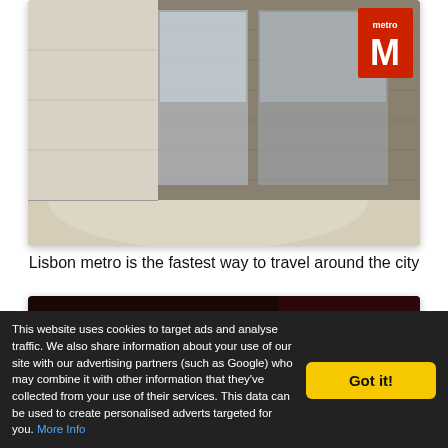[Figure (photo): Interior of Lisbon metro station platform showing a train beside the platform, with a yellow tactile warning strip on the floor, and a red Metro M logo sign on the train door.]
Lisbon metro is the fastest way to travel around the city
[Figure (photo): Night scene of a taxi with illuminated TAXI sign on its roof in red letters, with blurred colorful bokeh lights in the background.]
This website uses cookies to target ads and analyse traffic. We also share information about your use of our site with our advertising partners (such as Google) who may combine it with other information that they've collected from your use of their services. This data can be used to create personalised adverts targeted for you. More Info